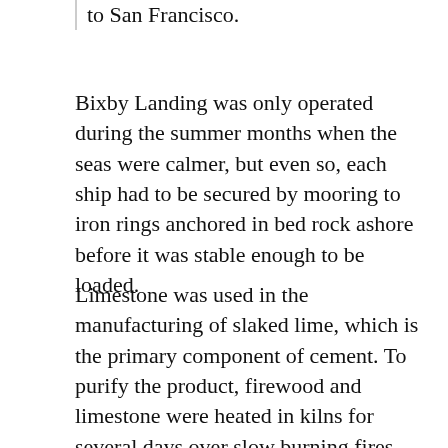to San Francisco.
Bixby Landing was only operated during the summer months when the seas were calmer, but even so, each ship had to be secured by mooring to iron rings anchored in bed rock ashore before it was stable enough to be loaded.
Limestone was used in the manufacturing of slaked lime, which is the primary component of cement. To purify the product, firewood and limestone were heated in kilns for several days over slow burning fires. Once cooled, the finished product was packed in wooden barrels and transported to Bixby Landing, via a high-wire tram, like a ski lift. Powered by a donkey engine, the cables were suspended from derricks, erected along Long Ridge, high above the creek